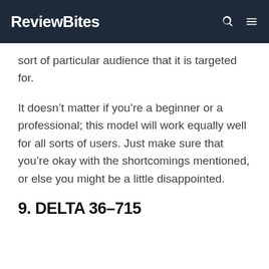ReviewBites
sort of particular audience that it is targeted for.
It doesn’t matter if you’re a beginner or a professional; this model will work equally well for all sorts of users. Just make sure that you’re okay with the shortcomings mentioned, or else you might be a little disappointed.
9. DELTA 36-715